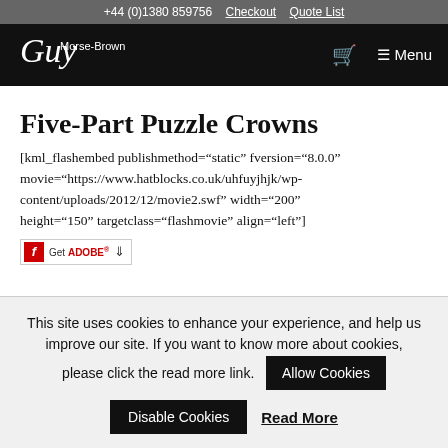+44 (0)1380 859756  Checkout  Quote List
[Figure (logo): Guy Morse-Brown logo in white script on black background with shopping cart and Menu navigation]
Five-Part Puzzle Crowns
[kml_flashembed publishmethod="static" fversion="8.0.0" movie="https://www.hatblocks.co.uk/uhfuyjhjk/wp-content/uploads/2012/12/movie2.swf" width="200" height="150" targetclass="flashmovie" align="left"]
[Figure (other): Get Adobe Flash Player badge with red flash icon and download arrow]
This site uses cookies to enhance your experience, and help us improve our site. If you want to know more about cookies, please click the read more link.
Allow Cookies
Disable Cookies  Read More